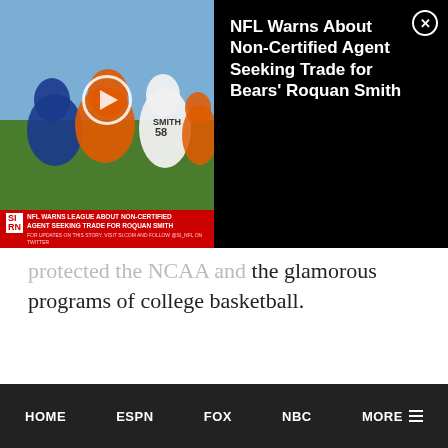[Figure (screenshot): Video ad overlay showing NFL football game footage with SI (Sports Illustrated) logo bar at bottom. Red banner reads: NFL WARNS LEAGUE ABOUT NON-CERTIFIED AGENT SEEKING TRADE FOR ROQUAN SMITH. A play button is visible in the center of the video thumbnail.]
NFL Warns About Non-Certified Agent Seeking Trade for Bears' Roquan Smith
protected the NCAA and the glamorous programs of college basketball.
HOME   ESPN   FOX   NBC   MORE